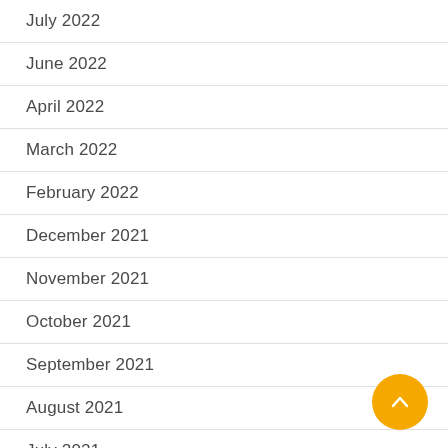July 2022
June 2022
April 2022
March 2022
February 2022
December 2021
November 2021
October 2021
September 2021
August 2021
July 2021
June 2021